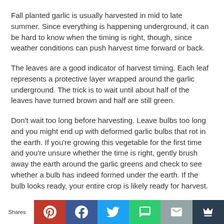Fall planted garlic is usually harvested in mid to late summer. Since everything is happening underground, it can be hard to know when the timing is right, though, since weather conditions can push harvest time forward or back.
The leaves are a good indicator of harvest timing. Each leaf represents a protective layer wrapped around the garlic underground. The trick is to wait until about half of the leaves have turned brown and half are still green.
Don’t wait too long before harvesting. Leave bulbs too long and you might end up with deformed garlic bulbs that rot in the earth. If you’re growing this vegetable for the first time and you’re unsure whether the time is right, gently brush away the earth around the garlic greens and check to see whether a bulb has indeed formed under the earth. If the bulb looks ready, your entire crop is likely ready for harvest.
[Figure (infographic): Social sharing bar with Shares label and buttons for Pinterest, Facebook, Twitter, SMS, Email, and a crown/bookmark icon]